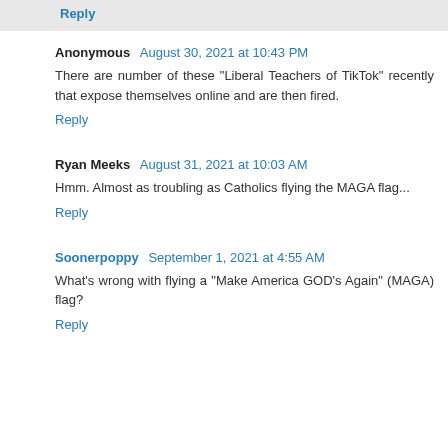Reply
Anonymous  August 30, 2021 at 10:43 PM
There are number of these "Liberal Teachers of TikTok" recently that expose themselves online and are then fired.
Reply
Ryan Meeks  August 31, 2021 at 10:03 AM
Hmm. Almost as troubling as Catholics flying the MAGA flag...
Reply
Soonerpoppy  September 1, 2021 at 4:55 AM
What's wrong with flying a "Make America GOD's Again" (MAGA) flag?
Reply